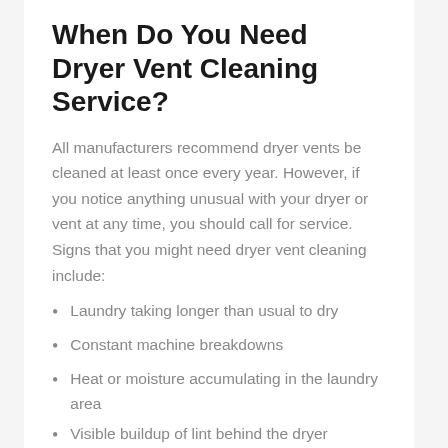When Do You Need Dryer Vent Cleaning Service?
All manufacturers recommend dryer vents be cleaned at least once every year. However, if you notice anything unusual with your dryer or vent at any time, you should call for service. Signs that you might need dryer vent cleaning include:
Laundry taking longer than usual to dry
Constant machine breakdowns
Heat or moisture accumulating in the laundry area
Visible buildup of lint behind the dryer
A burning smell when the dryer is in use
If you notice these or any other changes to